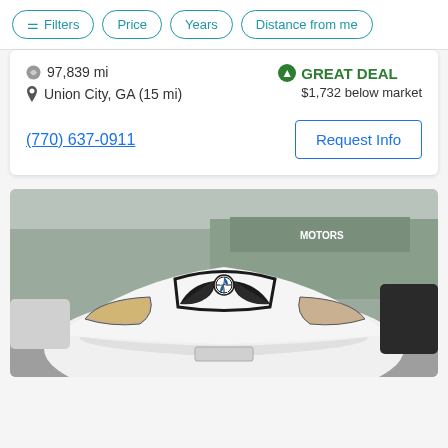Filters | Price | Years | Distance from me
97,839 mi
Union City, GA (15 mi)
GREAT DEAL — $1,732 below market
(770) 637-0911
Request Info
[Figure (photo): Front view of a white BMW X1 SUV parked at a car dealership lot with other vehicles visible in the background. A dealership sign reading 'MOTORS' is partially visible.]